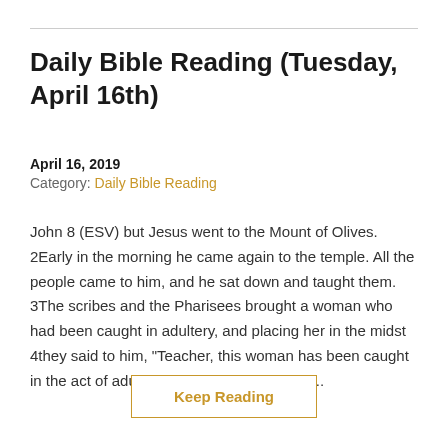Daily Bible Reading (Tuesday, April 16th)
April 16, 2019
Category: Daily Bible Reading
John 8 (ESV) but Jesus went to the Mount of Olives. 2Early in the morning he came again to the temple. All the people came to him, and he sat down and taught them. 3The scribes and the Pharisees brought a woman who had been caught in adultery, and placing her in the midst 4they said to him, "Teacher, this woman has been caught in the act of adultery. 5Now in the Law, Mo...
Keep Reading